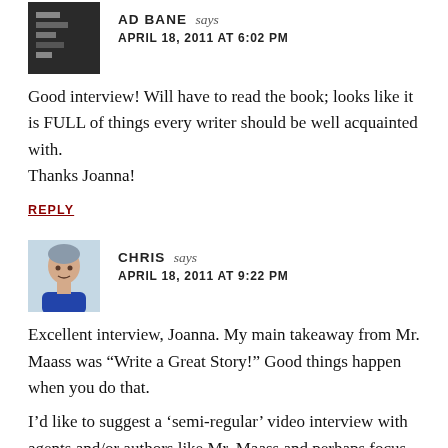[Figure (photo): Avatar photo for Ad Bane commenter — dark/black square image]
AD BANE says
APRIL 18, 2011 AT 6:02 PM
Good interview! Will have to read the book; looks like it is FULL of things every writer should be well acquainted with.
Thanks Joanna!
REPLY
[Figure (photo): Avatar photo for Chris commenter — person with short hair, blue shirt]
CHRIS says
APRIL 18, 2011 AT 9:22 PM
Excellent interview, Joanna. My main takeaway from Mr. Maass was “Write a Great Story!” Good things happen when you do that.
I’d like to suggest a ‘semi-regular’ video interview with agents and/or authors like Mr. Maass and perhaps focus on a few key questions that you can ask each guest. In